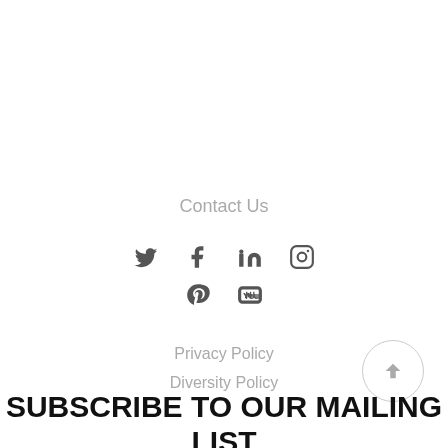Contact Us
[Figure (infographic): Social media icons row 1: Twitter, Facebook, LinkedIn, Instagram; row 2: Pinterest, YouTube]
Privacy Policy
Diversity Policy
SUBSCRIBE TO OUR MAILING LIST